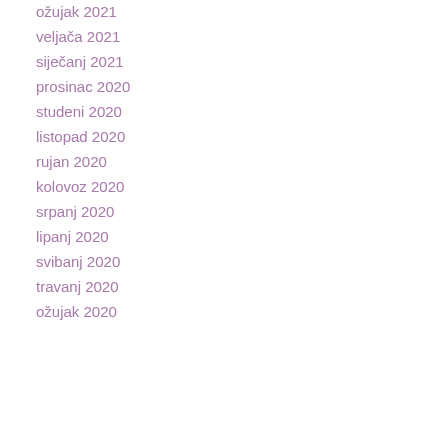ožujak 2021
veljača 2021
siječanj 2021
prosinac 2020
studeni 2020
listopad 2020
rujan 2020
kolovoz 2020
srpanj 2020
lipanj 2020
svibanj 2020
travanj 2020
ožujak 2020